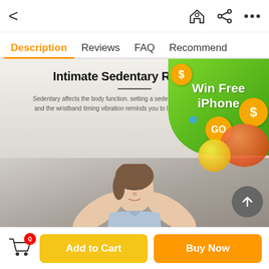< (back) (home icon) (share icon) (more icon)
Description | Reviews | FAQ | Recommend
[Figure (screenshot): Product page screenshot showing a woman relaxing with arms behind head, an ad banner 'Win Free iPhone' with GO button and dollar coin bubbles, a scroll-up button, text 'Intimate Sedentary Reminder' with description about sedentary reminder vibration]
Intimate Sedentary Reminder
Sedentary affects the body function. setting a sedentary reminder in the app, and the wristband timing vibration reminds you to leave the chair is the time
Add to Cart | Buy Now | Cart (0)